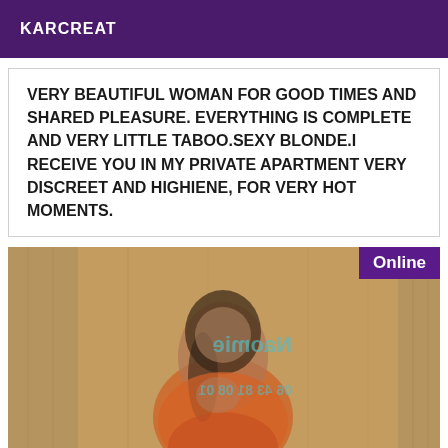KARCREAT
VERY BEAUTIFUL WOMAN FOR GOOD TIMES AND SHARED PLEASURE. EVERYTHING IS COMPLETE AND VERY LITTLE TABOO.SEXY BLONDE.I RECEIVE YOU IN MY PRIVATE APARTMENT VERY DISCREET AND HIGHIENE, FOR VERY HOT MOMENTS.
[Figure (photo): Blurred photo of a woman in an orange dress in a wooden sauna-like room, with mirrored/watermarked text overlay reading 'Naomie' and a phone number '06 43 81 08 01'. An 'Online' badge appears in the top right corner.]